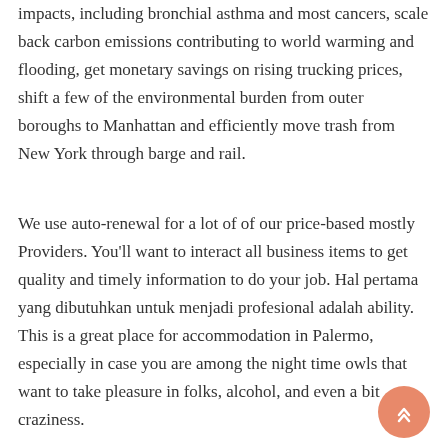impacts, including bronchial asthma and most cancers, scale back carbon emissions contributing to world warming and flooding, get monetary savings on rising trucking prices, shift a few of the environmental burden from outer boroughs to Manhattan and efficiently move trash from New York through barge and rail.
We use auto-renewal for a lot of of our price-based mostly Providers. You'll want to interact all business items to get quality and timely information to do your job. Hal pertama yang dibutuhkan untuk menjadi profesional adalah ability. This is a great place for accommodation in Palermo, especially in case you are among the night time owls that want to take pleasure in folks, alcohol, and even a bit craziness.